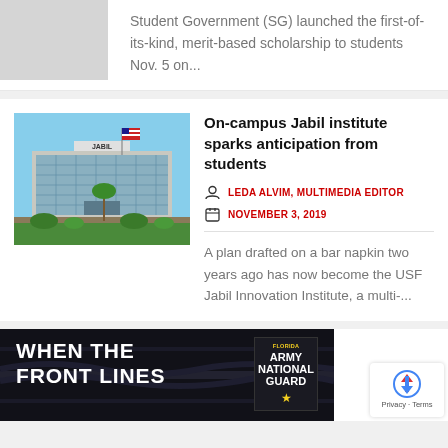Student Government (SG) launched the first-of-its-kind, merit-based scholarship to students Nov. 5 on...
On-campus Jabil institute sparks anticipation from students
LEDA ALVIM, MULTIMEDIA EDITOR
NOVEMBER 3, 2019
A plan drafted on a bar napkin two years ago has now become the USF Jabil Innovation Institute, a multi-...
[Figure (photo): Exterior photo of the Jabil building, a modern glass-facade corporate building with JABIL sign, American flag, palm trees and landscaping in front]
[Figure (photo): Florida Army National Guard advertisement showing bold white text 'WHEN THE FRONT LINES' on dark background with Army National Guard logo badge]